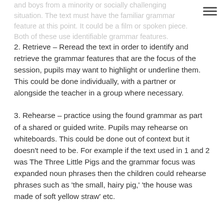and boys from a minority or socially challenging situation. The text must have the familiar grammar feature at this point. It could be a film or spoken piece. Both of these use identifiable grammar features.
2. Retrieve – Reread the text in order to identify and retrieve the grammar features that are the focus of the session, pupils may want to highlight or underline them. This could be done individually, with a partner or alongside the teacher in a group where necessary.
3. Rehearse – practice using the found grammar as part of a shared or guided write. Pupils may rehearse on whiteboards. This could be done out of context but it doesn't need to be. For example if the text used in 1 and 2 was The Three Little Pigs and the grammar focus was expanded noun phrases then the children could rehearse phrases such as 'the small, hairy pig,' 'the house was made of soft yellow straw' etc.